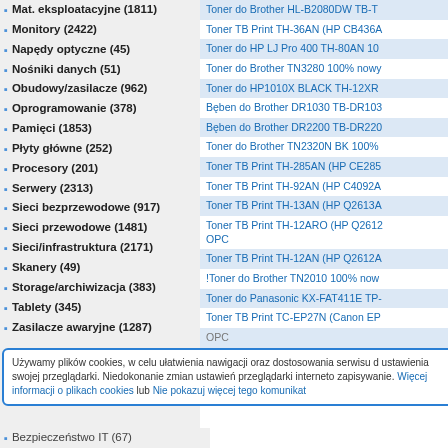Mat. eksploatacyjne (1811)
Monitory (2422)
Napędy optyczne (45)
Nośniki danych (51)
Obudowy/zasilacze (962)
Oprogramowanie (378)
Pamięci (1853)
Płyty główne (252)
Procesory (201)
Serwery (2313)
Sieci bezprzewodowe (917)
Sieci przewodowe (1481)
Sieci/infrastruktura (2171)
Skanery (49)
Storage/archiwizacja (383)
Tablety (345)
Zasilacze awaryjne (1287)
Akcesoria RTV (874)
Toner do Brother HL-B2080DW TB-T
Toner TB Print TH-36AN (HP CB436A
Toner do HP LJ Pro 400 TH-80AN 10
Toner do Brother TN3280 100% nowy
Toner do HP1010X BLACK TH-12XR
Bęben do Brother DR1030 TB-DR103
Bęben do Brother DR2200 TB-DR220
Toner do Brother TN2320N BK 100%
Toner TB Print TH-285AN (HP CE285
Toner TB Print TH-92AN (HP C4092A
Toner TB Print TH-13AN (HP Q2613A
Toner TB Print TH-12ARO (HP Q2612 OPC
Toner TB Print TH-12AN (HP Q2612A
!Toner do Brother TN2010 100% now
Toner do Panasonic KX-FAT411E TP-
Toner TB Print TC-EP27N (Canon EP
OPC
Bezpieczeństwo IT (67)
Używamy plików cookies, w celu ułatwienia nawigacji oraz dostosowania serwisu d ustawienia swojej przeglądarki. Niedokonanie zmian ustawień przeglądarki interneto zapisywanie. Więcej informacji o plikach cookies lub Nie pokazuj więcej tego komunikat